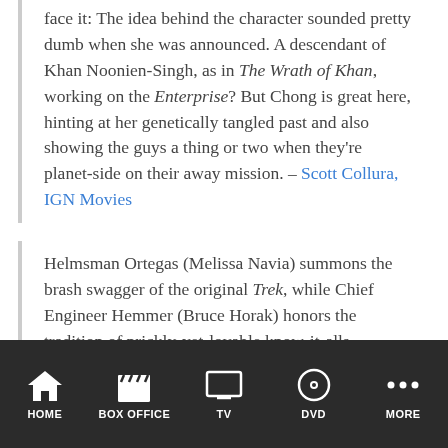face it: The idea behind the character sounded pretty dumb when she was announced. A descendant of Khan Noonien-Singh, as in The Wrath of Khan, working on the Enterprise? But Chong is great here, hinting at her genetically tangled past and also showing the guys a thing or two when they're planet-side on their away mission. – Scott Collura, IGN Movies
Helmsman Ortegas (Melissa Navia) summons the brash swagger of the original Trek, while Chief Engineer Hemmer (Bruce Horak) honors the tradition of prickly-yet-lovable know-it-alls. – Darren Franich, Entertainment Weekly
HOW IS THE SHOW'S PRODUCTION VALUE?
HOME  BOX OFFICE  TV  DVD  MORE